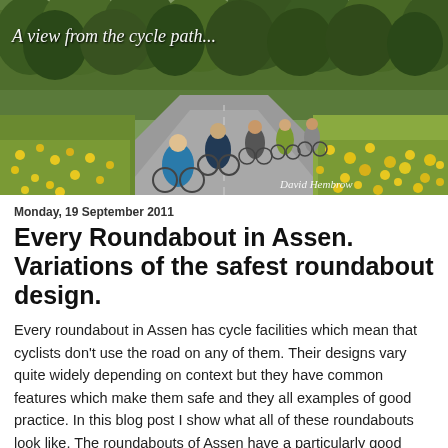[Figure (photo): Header banner photo showing cyclists on a Dutch cycle path surrounded by trees and yellow wildflowers. Text overlay reads 'A view from the cycle path...' and credit 'David Hembrow' in bottom right.]
Monday, 19 September 2011
Every Roundabout in Assen. Variations of the safest roundabout design.
Every roundabout in Assen has cycle facilities which mean that cyclists don't use the road on any of them. Their designs vary quite widely depending on context but they have common features which make them safe and they all examples of good practice. In this blog post I show what all of these roundabouts look like. The roundabouts of Assen have a particularly good safety record: there were just two